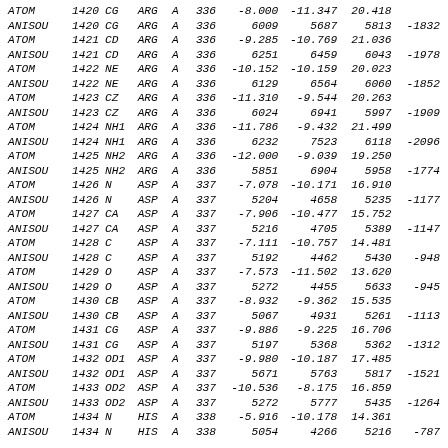| ATOM | 1420 | CG | ARG | A | 336 | -8.000 | -11.347 | 20.418 |
| ANISOU | 1420 | CG | ARG | A | 336 | 6009 | 5687 | 5813 | -1832 |
| ATOM | 1421 | CD | ARG | A | 336 | -9.285 | -10.769 | 21.036 |
| ANISOU | 1421 | CD | ARG | A | 336 | 6251 | 6459 | 6043 | -1978 |
| ATOM | 1422 | NE | ARG | A | 336 | -10.152 | -10.159 | 20.023 |
| ANISOU | 1422 | NE | ARG | A | 336 | 6129 | 6564 | 6060 | -1852 |
| ATOM | 1423 | CZ | ARG | A | 336 | -11.310 | -9.544 | 20.263 |
| ANISOU | 1423 | CZ | ARG | A | 336 | 6024 | 6941 | 5997 | -1909 |
| ATOM | 1424 | NH1 | ARG | A | 336 | -11.786 | -9.432 | 21.499 |
| ANISOU | 1424 | NH1 | ARG | A | 336 | 6232 | 7523 | 6118 | -2096 |
| ATOM | 1425 | NH2 | ARG | A | 336 | -12.000 | -9.039 | 19.250 |
| ANISOU | 1425 | NH2 | ARG | A | 336 | 5851 | 6904 | 5958 | -1774 |
| ATOM | 1426 | N | ASP | A | 337 | -7.078 | -10.171 | 16.910 |
| ANISOU | 1426 | N | ASP | A | 337 | 5204 | 4658 | 5235 | -1177 |
| ATOM | 1427 | CA | ASP | A | 337 | -7.906 | -10.477 | 15.752 |
| ANISOU | 1427 | CA | ASP | A | 337 | 5216 | 4705 | 5389 | -1147 |
| ATOM | 1428 | C | ASP | A | 337 | -7.111 | -10.757 | 14.481 |
| ANISOU | 1428 | C | ASP | A | 337 | 5192 | 4462 | 5430 | -948 |
| ATOM | 1429 | O | ASP | A | 337 | -7.573 | -11.502 | 13.620 |
| ANISOU | 1429 | O | ASP | A | 337 | 5272 | 4455 | 5633 | -945 |
| ATOM | 1430 | CB | ASP | A | 337 | -8.932 | -9.362 | 15.535 |
| ANISOU | 1430 | CB | ASP | A | 337 | 5067 | 4931 | 5261 | -1113 |
| ATOM | 1431 | CG | ASP | A | 337 | -9.886 | -9.225 | 16.706 |
| ANISOU | 1431 | CG | ASP | A | 337 | 5197 | 5368 | 5362 | -1312 |
| ATOM | 1432 | OD1 | ASP | A | 337 | -9.980 | -10.187 | 17.485 |
| ANISOU | 1432 | OD1 | ASP | A | 337 | 5671 | 5763 | 5817 | -1521 |
| ATOM | 1433 | OD2 | ASP | A | 337 | -10.536 | -8.175 | 16.859 |
| ANISOU | 1433 | OD2 | ASP | A | 337 | 5272 | 5777 | 5435 | -1264 |
| ATOM | 1434 | N | HIS | A | 338 | -5.916 | -10.178 | 14.361 |
| ANISOU | 1434 | N | HIS | A | 338 | 5054 | 4266 | 5216 | -787 |